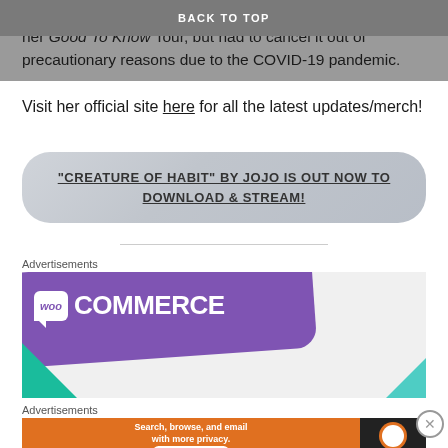She was suppose to go on tour this year in promotion of her Good To Know Tour, but had to cancel it out of precautionary reasons due to the COVID-19 pandemic.
BACK TO TOP
Visit her official site here for all the latest updates/merch!
"CREATURE OF HABIT" BY JOJO IS OUT NOW TO DOWNLOAD & STREAM!
Advertisements
[Figure (illustration): WooCommerce advertisement banner with purple background, WooCommerce logo in white, teal/green triangle bottom left, blue triangle bottom right]
Advertisements
[Figure (illustration): DuckDuckGo advertisement banner: orange background with text 'Search, browse, and email with more privacy. All in One Free App', DuckDuckGo duck logo on dark right panel]